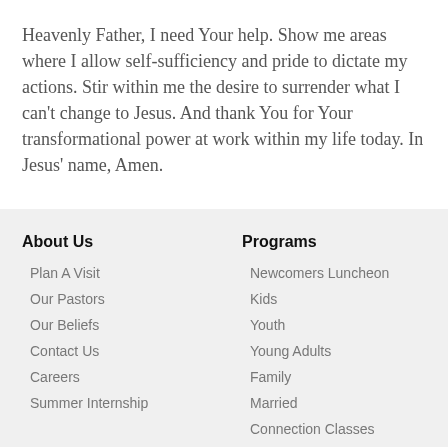Heavenly Father, I need Your help. Show me areas where I allow self-sufficiency and pride to dictate my actions. Stir within me the desire to surrender what I can't change to Jesus. And thank You for Your transformational power at work within my life today. In Jesus' name, Amen.
About Us
Programs
Plan A Visit
Our Pastors
Our Beliefs
Contact Us
Careers
Summer Internship
Newcomers Luncheon
Kids
Youth
Young Adults
Family
Married
Connection Classes